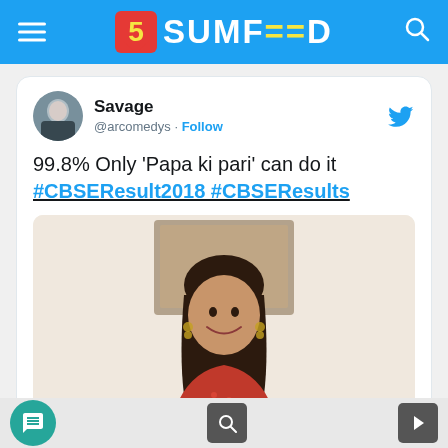SUMFEED
[Figure (screenshot): Tweet by @arcomedys (Savage) with text '99.8% Only Papa ki pari can do it #CBSEResult2018 #CBSEResults' and a photo of a smiling young woman in Indian attire standing in front of a framed artwork]
Chat button, search button, next button